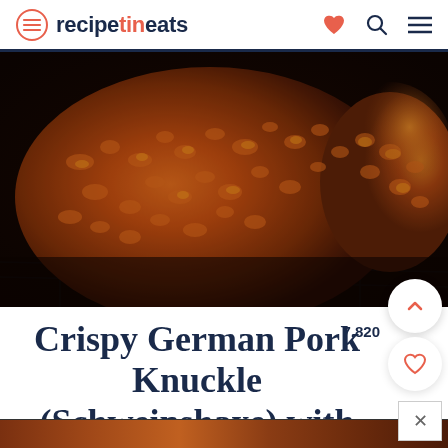recipetineats
[Figure (photo): Close-up photo of a crispy German pork knuckle (Schweinshaxe) with golden-brown crackling skin on a wire rack]
Crispy German Pork Knuckle (Schweinshaxe) with Beer Gravy